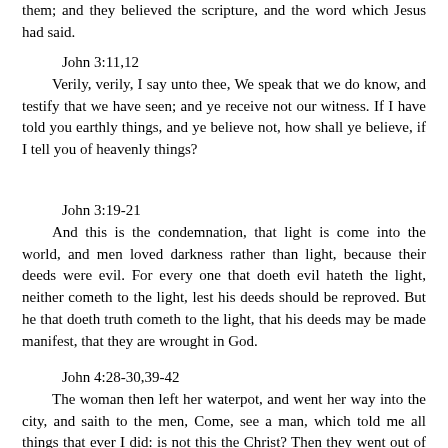them; and they believed the scripture, and the word which Jesus had said.
John 3:11,12
Verily, verily, I say unto thee, We speak that we do know, and testify that we have seen; and ye receive not our witness. If I have told you earthly things, and ye believe not, how shall ye believe, if I tell you of heavenly things?
John 3:19-21
And this is the condemnation, that light is come into the world, and men loved darkness rather than light, because their deeds were evil. For every one that doeth evil hateth the light, neither cometh to the light, lest his deeds should be reproved. But he that doeth truth cometh to the light, that his deeds may be made manifest, that they are wrought in God.
John 4:28-30,39-42
The woman then left her waterpot, and went her way into the city, and saith to the men, Come, see a man, which told me all things that ever I did: is not this the Christ? Then they went out of the city, and came unto him. And many of the Samaritans of that